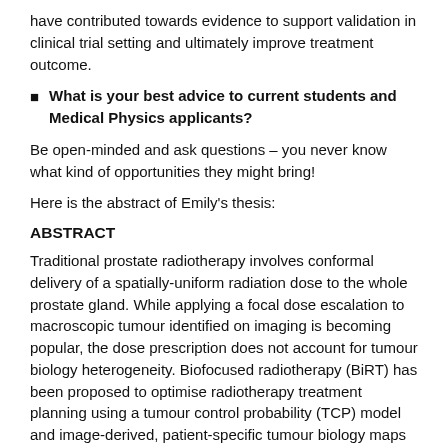have contributed towards evidence to support validation in clinical trial setting and ultimately improve treatment outcome.
What is your best advice to current students and Medical Physics applicants?
Be open-minded and ask questions – you never know what kind of opportunities they might bring!
Here is the abstract of Emily's thesis:
ABSTRACT
Traditional prostate radiotherapy involves conformal delivery of a spatially-uniform radiation dose to the whole prostate gland. While applying a focal dose escalation to macroscopic tumour identified on imaging is becoming popular, the dose prescription does not account for tumour biology heterogeneity. Biofocused radiotherapy (BiRT) has been proposed to optimise radiotherapy treatment planning using a tumour control probability (TCP) model and image-derived, patient-specific tumour biology maps to inform the model. Biologically-optimised plans are hypothesised to result in favourable treatment outcomes than conventional dose-based planning. This thesis aimed to apply the BiRT principles to prostate intensity-modulated radiotherapy